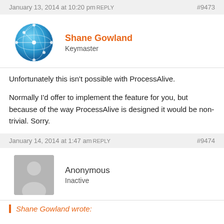January 13, 2014 at 10:20 pm REPLY  #9473
[Figure (photo): Blue globe/network avatar icon for user Shane Gowland]
Shane Gowland
Keymaster
Unfortunately this isn't possible with ProcessAlive.

Normally I'd offer to implement the feature for you, but because of the way ProcessAlive is designed it would be non-trivial. Sorry.
January 14, 2014 at 1:47 am REPLY  #9474
[Figure (illustration): Grey anonymous user avatar silhouette]
Anonymous
Inactive
Shane Gowland wrote: